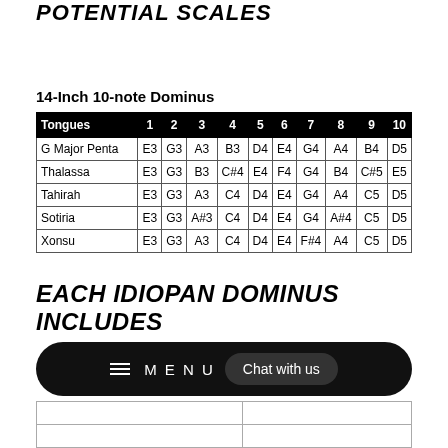POTENTIAL SCALES
14-Inch 10-note Dominus
| Tongues | 1 | 2 | 3 | 4 | 5 | 6 | 7 | 8 | 9 | 10 |
| --- | --- | --- | --- | --- | --- | --- | --- | --- | --- | --- |
| G Major Penta | E3 | G3 | A3 | B3 | D4 | E4 | G4 | A4 | B4 | D5 |
| Thalassa | E3 | G3 | B3 | C#4 | E4 | F4 | G4 | B4 | C#5 | E5 |
| Tahirah | E3 | G3 | A3 | C4 | D4 | E4 | G4 | A4 | C5 | D5 |
| Sotiria | E3 | G3 | A#3 | C4 | D4 | E4 | G4 | A#4 | C5 | D5 |
| Xonsu | E3 | G3 | A3 | C4 | D4 | E4 | F#4 | A4 | C5 | D5 |
EACH IDIOPAN DOMINUS INCLUDES
[Figure (screenshot): Navigation bar with hamburger menu icon, MENU text, and Chat with us button on dark rounded background]
|  |  |
|  |  |